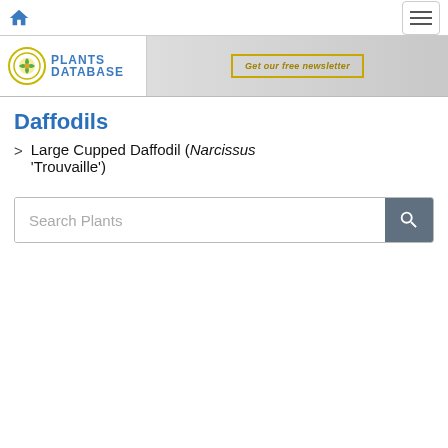Plants Database — National Gardening Association
Daffodils
> Large Cupped Daffodil (Narcissus 'Trouvaille')
Search Plants